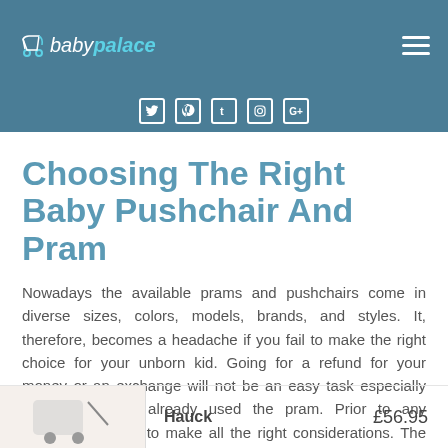baby palace
[Figure (logo): Baby Palace logo with stroller icon]
Choosing The Right Baby Pushchair And Pram
Nowadays the available prams and pushchairs come in diverse sizes, colors, models, brands, and styles. It, therefore, becomes a headache if you fail to make the right choice for your unborn kid. Going for a refund for your money or an exchange will not be an easy task especially since you have already used the pram. Prior to any purchase, ensure to make all the right considerations. The advice here would be to make sure that you meet all your needs and those of the baby before buying anything.
Hauck   £56.95